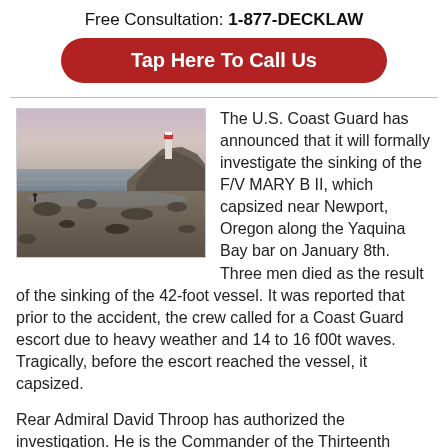Free Consultation: 1-877-DECKLAW
Tap Here To Call Us
[Figure (photo): Coastal scene with rocky shoreline, beach, and a lighthouse on a cliff in the background under a soft sky.]
The U.S. Coast Guard has announced that it will formally investigate the sinking of the F/V MARY B II, which capsized near Newport, Oregon along the Yaquina Bay bar on January 8th. Three men died as the result of the sinking of the 42-foot vessel. It was reported that prior to the accident, the crew called for a Coast Guard escort due to heavy weather and 14 to 16 f00t waves. Tragically, before the escort reached the vessel, it capsized.
Rear Admiral David Throop has authorized the investigation. He is the Commander of the Thirteenth